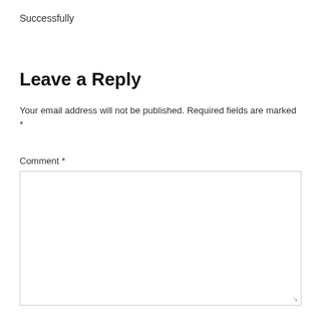Successfully
Leave a Reply
Your email address will not be published. Required fields are marked *
Comment *